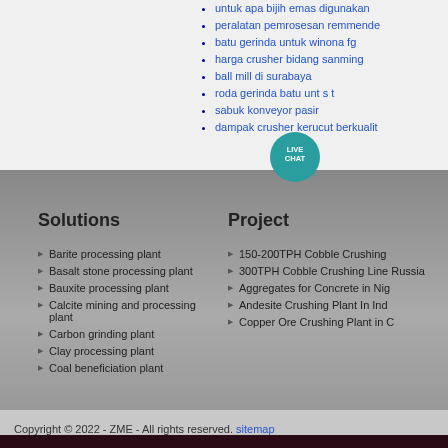untuk apa bijih emas digunakan
peralatan pemrosesan remmended
batu gerinda untuk winona fg
harga crusher bidang sanming
ball mill di surabaya
roda gerinda batu unt... s... t
sabuk konveyor pasir
dampak crusher kerucut berkualit
Solutions
Project
Barite processing plant
Basalt stone processing plant
Bauxite processing plant
Calcite mining and processing plant
Carbon grinding plant
Clay processing plant
Coal beneficiation plant
150-200TPH Cobble Crushing
300TPH Cobble Crushing Line Russia
Aggregates for Concrete in Nig
Andesite Crushing Plant In Ind
Copper Ore Crushing Plant in C
Copyright © 2022 - ZME - All rights reserved. sitemap